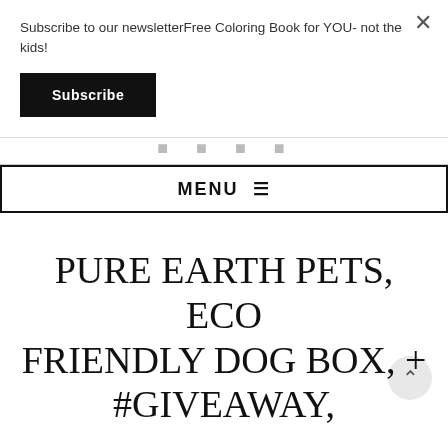Subscribe to our newsletterFree Coloring Book for YOU- not the kids!
Subscribe
MENU ☰
PURE EARTH PETS, ECO FRIENDLY DOG BOX, + #GIVEAWAY,